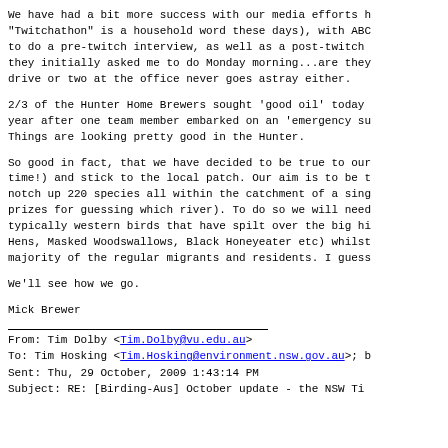We have had a bit more success with our media efforts h "Twitchathon" is a household word these days), with ABC to do a pre-twitch interview, as well as a post-twitch they initially asked me to do Monday morning...are they drive or two at the office never goes astray either.
2/3 of the Hunter Home Brewers sought 'good oil' today year after one team member embarked on an 'emergency su Things are looking pretty good in the Hunter.
So good in fact, that we have decided to be true to our time!) and stick to the local patch. Our aim is to be t notch up 220 species all within the catchment of a sing prizes for guessing which river). To do so we will need typically western birds that have spilt over the big hi Hens, Masked Woodswallows, Black Honeyeater etc) whilst majority of the regular migrants and residents. I guess
We'll see how we go.
Mick Brewer
From: Tim Dolby <Tim.Dolby@vu.edu.au>
To: Tim Hosking <Tim.Hosking@environment.nsw.gov.au>; b
Sent: Thu, 29 October, 2009 1:43:14 PM
Subject: RE: [Birding-Aus] October update - the NSW Ti